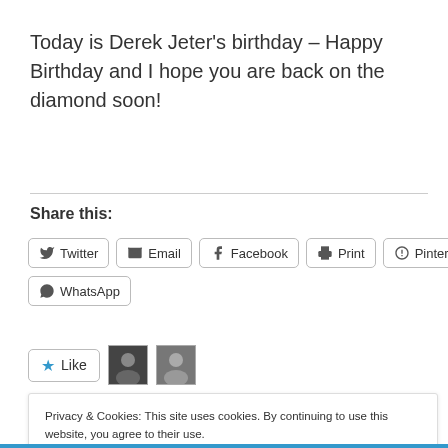Today is Derek Jeter's birthday – Happy Birthday and I hope you are back on the diamond soon!
Share this:
[Figure (screenshot): Row of social share buttons: Twitter, Email, Facebook, Print, Pinterest, WhatsApp]
[Figure (screenshot): Like button with star icon and two user avatar images]
Privacy & Cookies: This site uses cookies. By continuing to use this website, you agree to their use.
To find out more, including how to control cookies, see here: Cookie Policy
Close and accept